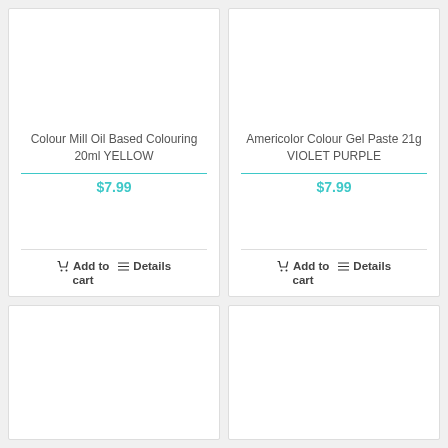[Figure (other): Product card: Colour Mill Oil Based Colouring 20ml YELLOW, price $7.99, with Add to cart and Details buttons]
[Figure (other): Product card: Americolor Colour Gel Paste 21g VIOLET PURPLE, price $7.99, with Add to cart and Details buttons]
[Figure (other): Product card (bottom left): partially visible, no text content shown]
[Figure (other): Product card (bottom right): partially visible, no text content shown]